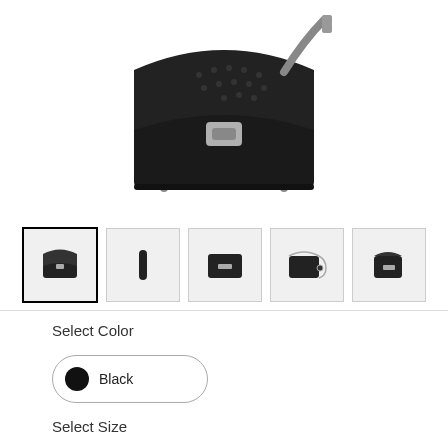[Figure (photo): Black leather handbag with perforated detail and silver clasp hardware, shown from front, viewed slightly from above.]
[Figure (photo): Row of 5 product thumbnail images of the black bag from different angles: front (selected/highlighted), side thin profile, back flat, angled with chain strap, angled side view.]
Select Color
[Figure (other): Color swatch pill button showing a black circle and the label 'Black', with a rounded rectangle border indicating selected state.]
Select Size